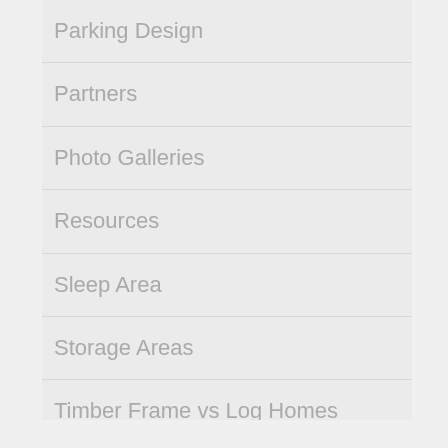Parking Design
Partners
Photo Galleries
Resources
Sleep Area
Storage Areas
Timber Frame vs Log Homes
Video Galleries